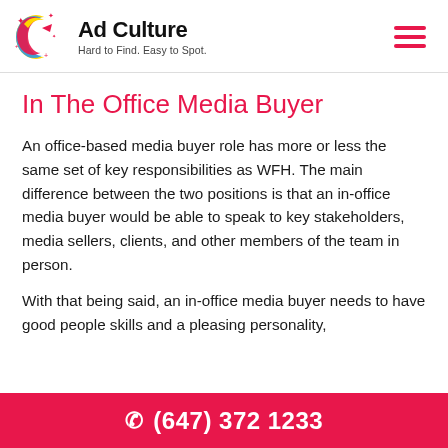[Figure (logo): Ad Culture logo — circular icon with colorful crescent and bird shape, pink sparkles, beside text 'Ad Culture' and tagline 'Hard to Find. Easy to Spot.']
In The Office Media Buyer
An office-based media buyer role has more or less the same set of key responsibilities as WFH. The main difference between the two positions is that an in-office media buyer would be able to speak to key stakeholders, media sellers, clients, and other members of the team in person.
With that being said, an in-office media buyer needs to have good people skills and a pleasing personality,
(647) 372 1233